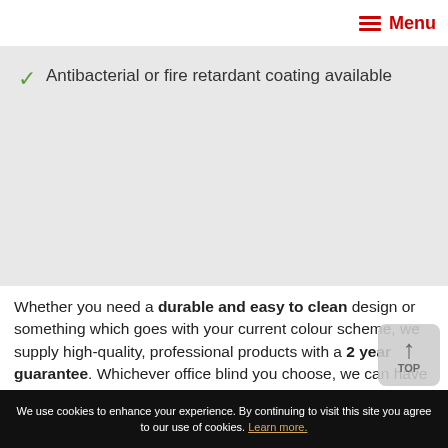Menu
Antibacterial or fire retardant coating available
Whether you need a durable and easy to clean design or something which goes with your current colour scheme, we supply high-quality, professional products with a 2 year guarantee. Whichever office blind you choose, we can have it made to measure-to-ensure the perfect fit for your office. Our range of office blinds includes vertical, Venetian and roller as some of the most popular choices, and you can see all these and more at our showrooms covering St Albans, Watford and Harrow.
We use cookies to enhance your experience. By continuing to visit this site you agree to our use of cookies. Learn more.